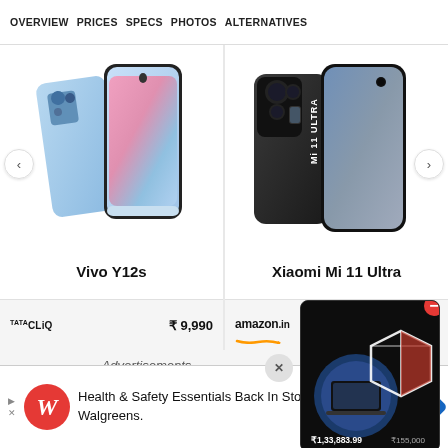OVERVIEW  PRICES  SPECS  PHOTOS  ALTERNATIVES
[Figure (photo): Vivo Y12s smartphone product image showing front and back views in light blue/gradient color]
Vivo Y12s
TATA CLiQ  ₹ 9,990
[Figure (photo): Xiaomi Mi 11 Ultra smartphone product image showing front and back views in black with Mi 11 Ultra text on back]
Xiaomi Mi 11 Ultra
amazon.in
[Figure (photo): Black box product advertisement with price ₹1,33,883.99 shown]
Advertisements
Health & Safety Essentials Back In Stock. Shop Walgreens.